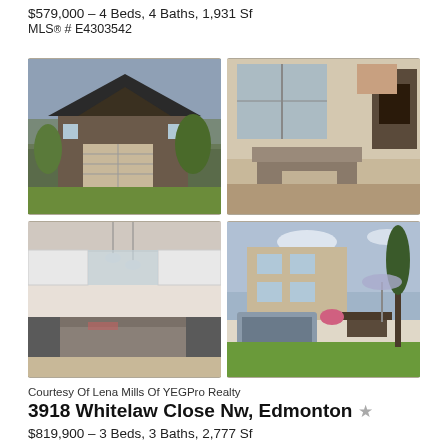$579,000 – 4 Beds, 4 Baths, 1,931 Sf
MLS® # E4303542
[Figure (photo): 2x2 grid of real estate photos: top-left exterior front of modern two-storey home with garage; top-right interior living room with large windows and fireplace; bottom-left modern kitchen with island and pendant lights; bottom-right exterior backyard with deck and hot tub]
Courtesy Of Lena Mills Of YEGPro Realty
3918 Whitelaw Close Nw, Edmonton
$819,900 – 3 Beds, 3 Baths, 2,777 Sf